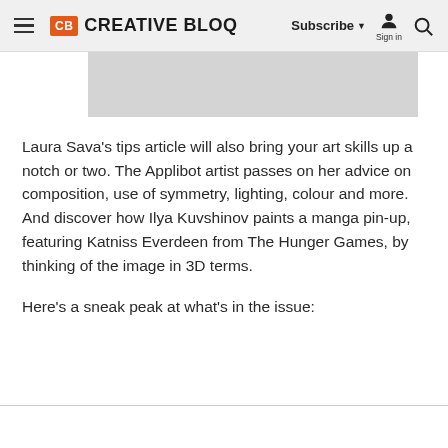CB CREATIVE BLOQ | Subscribe ▼ | Sign in | 🔍
[Figure (other): Gray placeholder image area (partial image cropped at top)]
Laura Sava's tips article will also bring your art skills up a notch or two. The Applibot artist passes on her advice on composition, use of symmetry, lighting, colour and more. And discover how Ilya Kuvshinov paints a manga pin-up, featuring Katniss Everdeen from The Hunger Games, by thinking of the image in 3D terms.
Here's a sneak peak at what's in the issue: